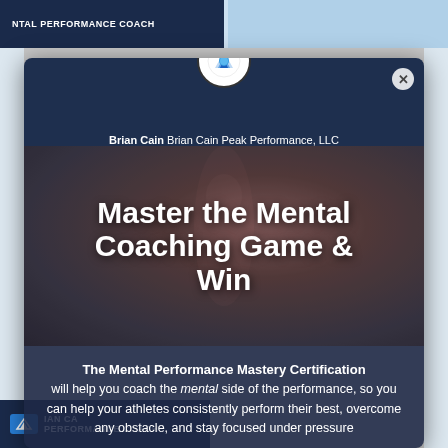[Figure (screenshot): Screenshot of a web page showing a modal popup for Brian Cain Peak Performance, LLC. The modal has a dark navy header with a circular logo at top, author name 'Brian Cain Brian Cain Peak Performance, LLC', a hero image area with an athlete in background and large white bold text 'Master the Mental Coaching Game & Win', and a dark blue lower section with text about The Mental Performance Mastery Certification.]
Master the Mental Coaching Game & Win
Brian Cain Brian Cain Peak Performance, LLC
The Mental Performance Mastery Certification will help you coach the mental side of the performance, so you can help your athletes consistently perform their best, overcome any obstacle, and stay focused under pressure